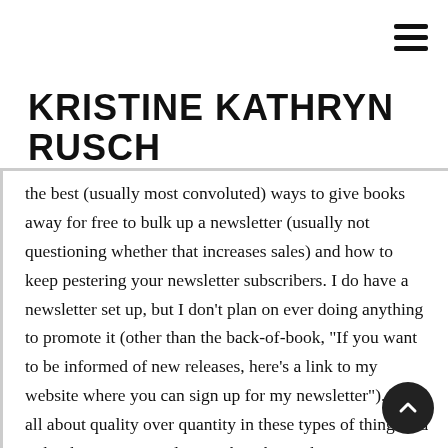KRISTINE KATHRYN RUSCH
the best (usually most convoluted) ways to give books away for free to bulk up a newsletter (usually not questioning whether that increases sales) and how to keep pestering your newsletter subscribers. I do have a newsletter set up, but I don't plan on ever doing anything to promote it (other than the back-of-book, "If you want to be informed of new releases, here's a link to my website where you can sign up for my newsletter"). I'm all about quality over quantity in these types of things. I'd rather have 100 newsletter subscribers who